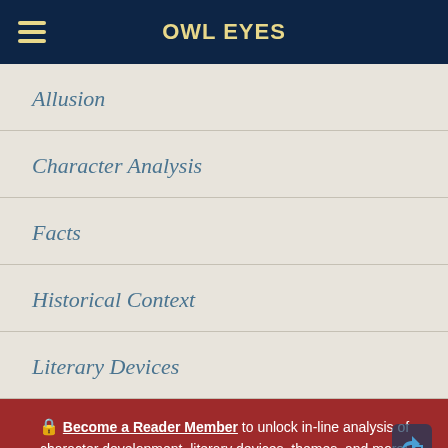OWL EYES
Allusion
Character Analysis
Facts
Historical Context
Literary Devices
🔒 Become a Reader Member to unlock in-line analysis of character development, literary devices, themes, and more!